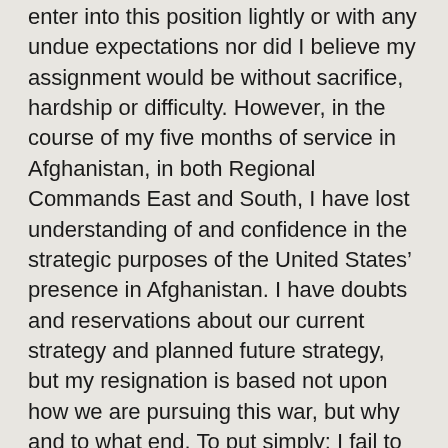enter into this position lightly or with any undue expectations nor did I believe my assignment would be without sacrifice, hardship or difficulty. However, in the course of my five months of service in Afghanistan, in both Regional Commands East and South, I have lost understanding of and confidence in the strategic purposes of the United States' presence in Afghanistan. I have doubts and reservations about our current strategy and planned future strategy, but my resignation is based not upon how we are pursuing this war, but why and to what end. To put simply: I fail to see the value or the worth in continued US casualties or expenditures of resources in support of the Afghan government in what is, truly, a 35-year old civil war.
This fall will mark the eighth year of US combat, governance and development operations within